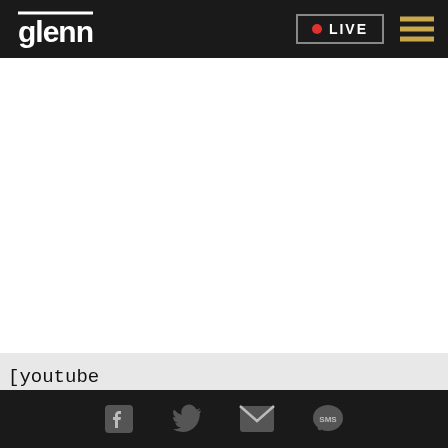glenn  LIVE
[Figure (other): Empty white content area where a video embed would appear]
[youtube http://www.youtube.com/v/tdTXPkfqbo0&hl=en&fs=1 expand=1]
Social media icons: Facebook, Twitter, Email, SMS